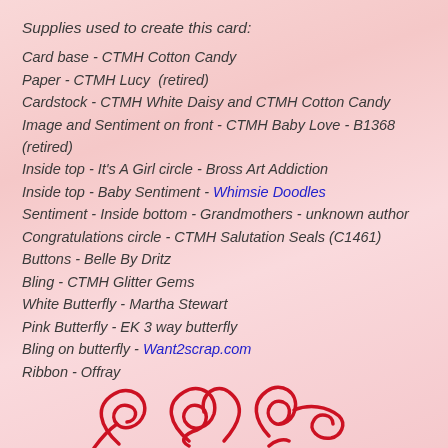Supplies used to create this card:
Card base - CTMH Cotton Candy
Paper - CTMH Lucy  (retired)
Cardstock - CTMH White Daisy and CTMH Cotton Candy
Image and Sentiment on front - CTMH Baby Love - B1368 (retired)
Inside top - It's A Girl circle - Bross Art Addiction
Inside top - Baby Sentiment - Whimsie Doodles
Sentiment - Inside bottom - Grandmothers - unknown author
Congratulations circle - CTMH Salutation Seals (C1461)
Buttons - Belle By Dritz
Bling - CTMH Glitter Gems
White Butterfly - Martha Stewart
Pink Butterfly - EK 3 way butterfly
Bling on butterfly - Want2scrap.com
Ribbon - Offray
[Figure (illustration): Red decorative swirl/heart illustration at the bottom of the page]